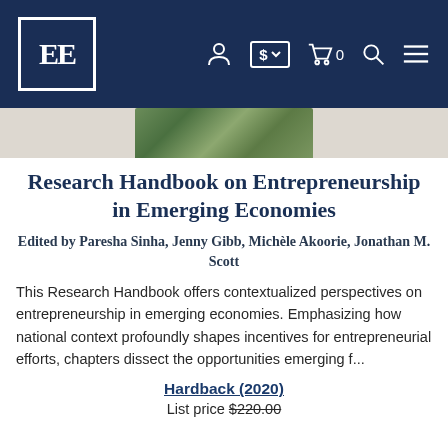EE [logo] navigation bar with account, currency ($), cart (0), search, menu icons
[Figure (photo): Partial book cover image showing a nature/plants scene in green tones]
Research Handbook on Entrepreneurship in Emerging Economies
Edited by Paresha Sinha, Jenny Gibb, Michèle Akoorie, Jonathan M. Scott
This Research Handbook offers contextualized perspectives on entrepreneurship in emerging economies. Emphasizing how national context profoundly shapes incentives for entrepreneurial efforts, chapters dissect the opportunities emerging f...
Hardback (2020)
List price $220.00